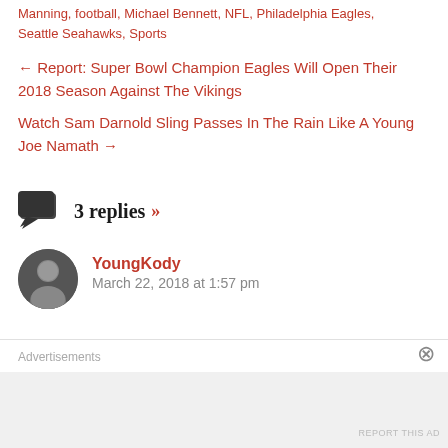Manning, football, Michael Bennett, NFL, Philadelphia Eagles, Seattle Seahawks, Sports
← Report: Super Bowl Champion Eagles Will Open Their 2018 Season Against The Vikings
Watch Sam Darnold Sling Passes In The Rain Like A Young Joe Namath →
3 replies »
YoungKody
March 22, 2018 at 1:57 pm
Advertisements